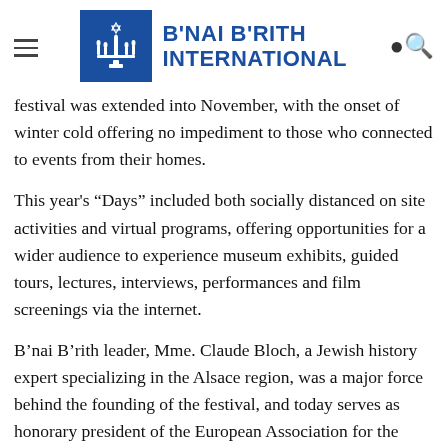B'NAI B'RITH INTERNATIONAL
festival was extended into November, with the onset of winter cold offering no impediment to those who connected to events from their homes.
This year’s “Days” included both socially distanced on site activities and virtual programs, offering opportunities for a wider audience to experience museum exhibits, guided tours, lectures, interviews, performances and film screenings via the internet.
B’nai B’rith leader, Mme. Claude Bloch, a Jewish history expert specializing in the Alsace region, was a major force behind the founding of the festival, and today serves as honorary president of the European Association for the